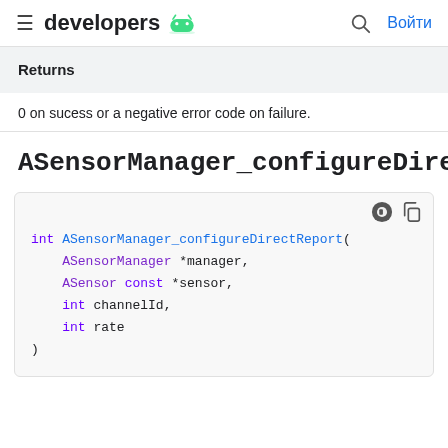≡ developers 🤖  🔍 Войти
Returns
0 on sucess or a negative error code on failure.
ASensorManager_configureDirectReport
[Figure (screenshot): Code block showing function signature: int ASensorManager_configureDirectReport(ASensorManager *manager, ASensor const *sensor, int channelId, int rate)]